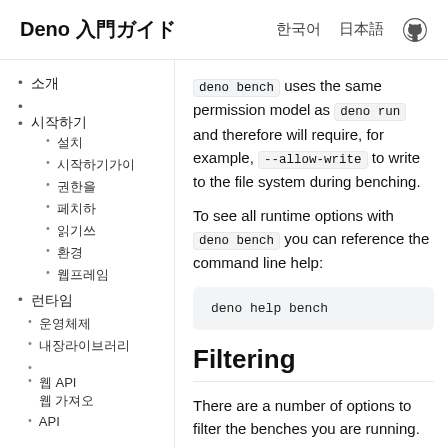Deno 入門ガイド
소개
시작하기
설치
시작하기가이
권한을
페치하
읽기쓰
환경
웹프레임
런타임
운영체제
내장라이브러리
웹 API
웹 가져오
deno bench uses the same permission model as deno run and therefore will require, for example, --allow-write to write to the file system during benching.
To see all runtime options with deno bench you can reference the command line help:
deno help bench
Filtering
There are a number of options to filter the benches you are running.
Command line filtering